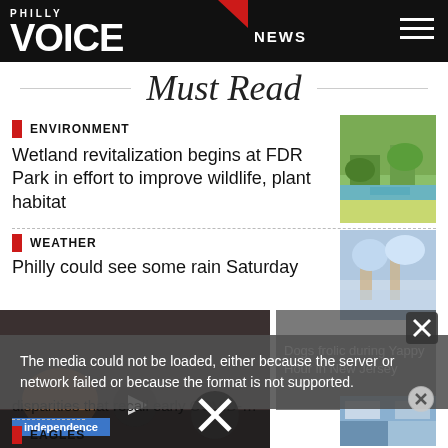PHILLY VOICE | NEWS
Must Read
ENVIRONMENT
Wetland revitalization begins at FDR Park in effort to improve wildlife, plant habitat
[Figure (photo): Wetland area with green vegetation and water]
WEATHER
Philly could see some rain Saturday
[Figure (photo): Outdoor scene with people]
Dogs frolic during Yappy Hour in New Jersey
The media could not be loaded, either because the server or network failed or because the format is not supported.
disparities that recall early COVID-...
from independence
EAGLES